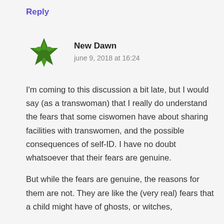Reply
[Figure (logo): Green geometric star/cross-shaped avatar icon for user New Dawn]
New Dawn
june 9, 2018 at 16:24
I'm coming to this discussion a bit late, but I would say (as a transwoman) that I really do understand the fears that some ciswomen have about sharing facilities with transwomen, and the possible consequences of self-ID. I have no doubt whatsoever that their fears are genuine.
But while the fears are genuine, the reasons for them are not. They are like the (very real) fears that a child might have of ghosts, or witches,